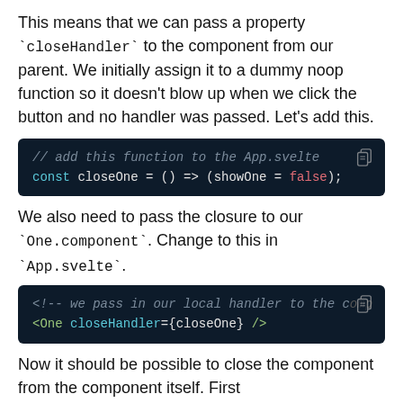This means that we can pass a property `closeHandler` to the component from our parent. We initially assign it to a dummy noop function so it doesn't blow up when we click the button and no handler was passed. Let's add this.
[Figure (screenshot): Dark code block showing: // add this function to the App.svelte
const closeOne = () => (showOne = false);]
We also need to pass the closure to our `One.component`. Change to this in `App.svelte`.
[Figure (screenshot): Dark code block showing: <!-- we pass in our local handler to the comp
<One closeHandler={closeOne} />]
Now it should be possible to close the component from the component itself. First